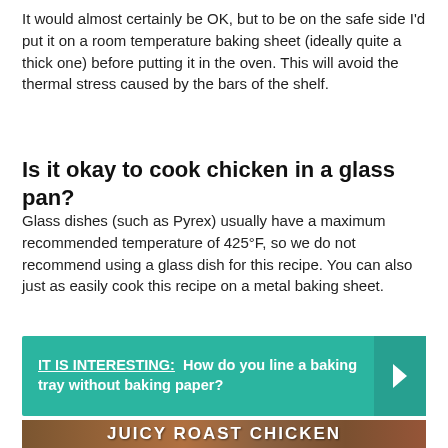It would almost certainly be OK, but to be on the safe side I'd put it on a room temperature baking sheet (ideally quite a thick one) before putting it in the oven. This will avoid the thermal stress caused by the bars of the shelf.
Is it okay to cook chicken in a glass pan?
Glass dishes (such as Pyrex) usually have a maximum recommended temperature of 425°F, so we do not recommend using a glass dish for this recipe. You can also just as easily cook this recipe on a metal baking sheet.
[Figure (infographic): Teal/green banner with text: IT IS INTERESTING: How do you line a baking tray without baking paper? with a right-arrow chevron on the right side]
[Figure (photo): Photo of roast chicken with text overlay reading JUICY ROAST CHICKEN in large white bold letters, with a man visible on the right side]